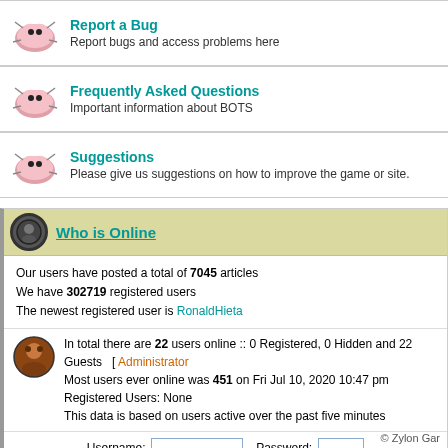Report a Bug - Report bugs and access problems here
Frequently Asked Questions - Important information about BOTS
Suggestions - Please give us suggestions on how to improve the game or site.
Who is Online
Our users have posted a total of 7045 articles
We have 302719 registered users
The newest registered user is RonaldHieta
In total there are 22 users online :: 0 Registered, 0 Hidden and 22 Guests [ Administrator
Most users ever online was 451 on Fri Jul 10, 2020 10:47 pm
Registered Users: None
This data is based on users active over the past five minutes
Username: [input] Password: [input]
New posts   No
© Zylon Gar